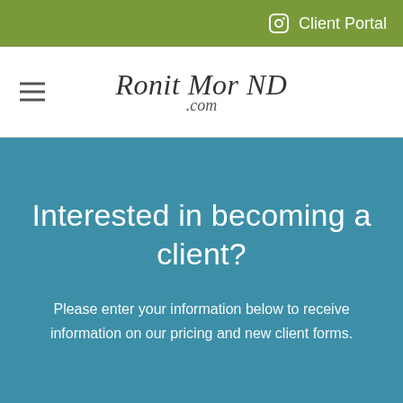Client Portal
Ronit Mor ND .com
Interested in becoming a client?
Please enter your information below to receive information on our pricing and new client forms.